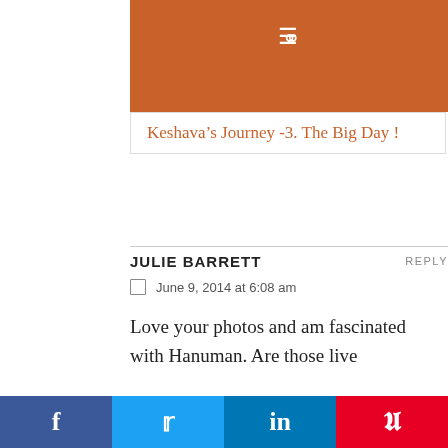Navigation bar with hamburger menu and search icon
Keshava’s Journey -3. The Big Day !
JULIE BARRETT
June 9, 2014 at 6:08 am
REPLY
Love your photos and am fascinated with Hanuman. Are those live
We use cookies on our website to give you the most relevant experience by remembering your preferences and repeat visits. By clicking “Accept”, you consent to the use of ALL the cookies.
Do not sell my personal information.
f  Twitter  in  Pinterest social share bar